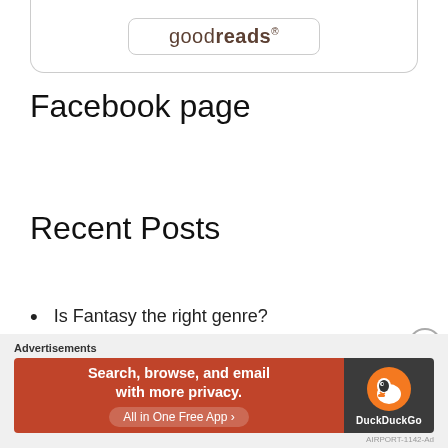[Figure (logo): Goodreads logo inside a rounded rectangle button, inside a larger rounded card box]
Facebook page
Recent Posts
Is Fantasy the right genre?
Bolivian Literature
Writing from multiple POVs
Interview with Author Carla Doria
[Figure (screenshot): DuckDuckGo advertisement banner: orange left panel reading 'Search, browse, and email with more privacy. All in One Free App', dark right panel with DuckDuckGo duck logo and brand name]